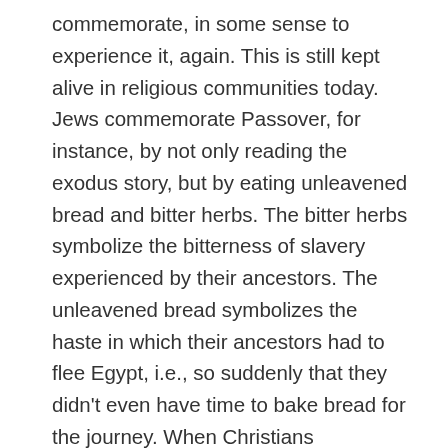commemorate, in some sense to experience it, again. This is still kept alive in religious communities today. Jews commemorate Passover, for instance, by not only reading the exodus story, but by eating unleavened bread and bitter herbs. The bitter herbs symbolize the bitterness of slavery experienced by their ancestors. The unleavened bread symbolizes the haste in which their ancestors had to flee Egypt, i.e., so suddenly that they didn't even have time to bake bread for the journey. When Christians participate in the Eucharist, they're literally (it is, in other words, the official doctrine and belief of most Christian churches) eating the blood and flesh of Jesus Christ. They're participating both in the last supper, when the ritual was first instituted, and in the sacrificial atonement that followed. What both of these rituals have in common is that they make believers a part of the event they describe. There's a sense in which these events,